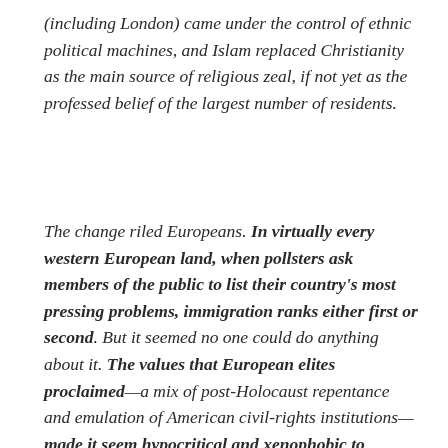(including London) came under the control of ethnic political machines, and Islam replaced Christianity as the main source of religious zeal, if not yet as the professed belief of the largest number of residents.
The change riled Europeans. In virtually every western European land, when pollsters ask members of the public to list their country's most pressing problems, immigration ranks either first or second. But it seemed no one could do anything about it. The values that European elites proclaimed—a mix of post-Holocaust repentance and emulation of American civil-rights institutions—made it seem hypocritical and xenophobic to regulate the